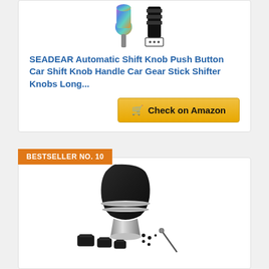[Figure (photo): SEADEAR shift knob product image showing colorful iridescent knob and accessories]
SEADEAR Automatic Shift Knob Push Button Car Shift Knob Handle Car Gear Stick Shifter Knobs Long...
Check on Amazon
BESTSELLER NO. 10
[Figure (photo): Black car gear shift knob with silver rings and adapter accessories set including different sized adapters and allen key]